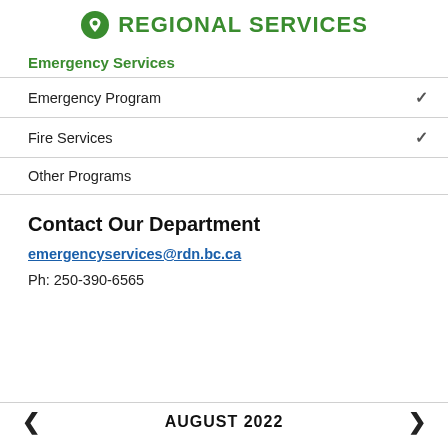REGIONAL SERVICES
Emergency Services
Emergency Program
Fire Services
Other Programs
Contact Our Department
emergencyservices@rdn.bc.ca
Ph: 250-390-6565
AUGUST 2022